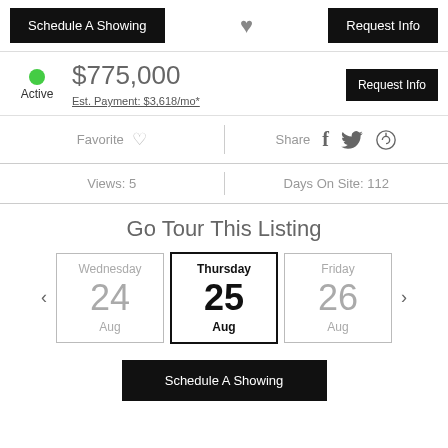Schedule A Showing
Request Info
Active
$775,000
Est. Payment: $3,618/mo*
Request Info
Favorite
Share
Views: 5
Days On Site: 112
Go Tour This Listing
Wednesday 24 Aug
Thursday 25 Aug
Friday 26 Aug
Schedule A Showing